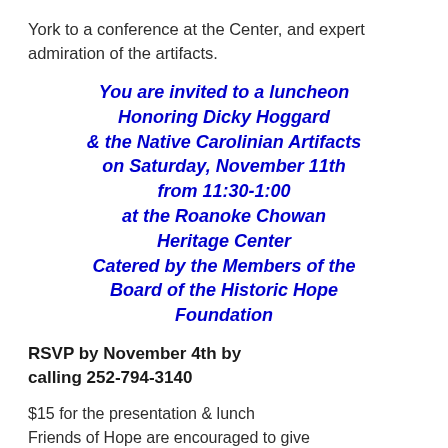York to a conference at the Center, and expert admiration of the artifacts.
You are invited to a luncheon Honoring Dicky Hoggard & the Native Carolinian Artifacts on Saturday, November 11th from 11:30-1:00 at the Roanoke Chowan Heritage Center Catered by the Members of the Board of the Historic Hope Foundation
RSVP by November 4th by calling 252-794-3140
$15 for the presentation & lunch Friends of Hope are encouraged to give